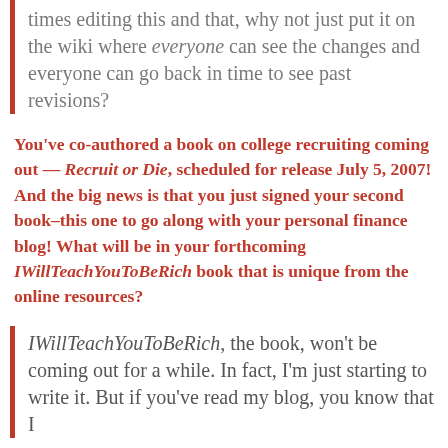times editing this and that, why not just put it on the wiki where everyone can see the changes and everyone can go back in time to see past revisions?
You've co-authored a book on college recruiting coming out — Recruit or Die, scheduled for release July 5, 2007! And the big news is that you just signed your second book–this one to go along with your personal finance blog! What will be in your forthcoming IWillTeachYouToBeRich book that is unique from the online resources?
IWillTeachYouToBeRich, the book, won't be coming out for a while. In fact, I'm just starting to write it. But if you've read my blog, you know that I